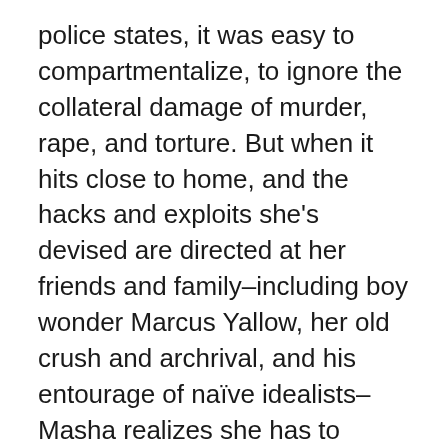police states, it was easy to compartmentalize, to ignore the collateral damage of murder, rape, and torture. But when it hits close to home, and the hacks and exploits she's devised are directed at her friends and family–including boy wonder Marcus Yallow, her old crush and archrival, and his entourage of naïve idealists–Masha realizes she has to choose. And whatever choice she makes, someone is going to get hurt. I was blissfully unaware that this is a spinoff from a series – but it really doesn't matter. Although another of the main characters features in the previous stories,